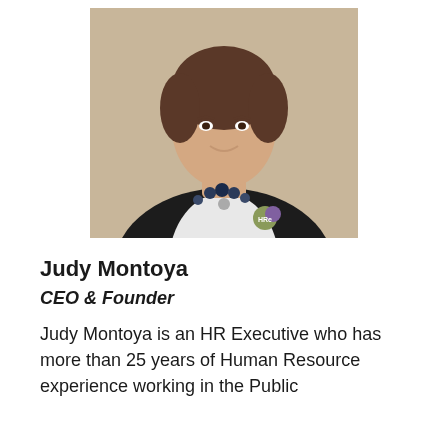[Figure (photo): Professional headshot of Judy Montoya, a woman wearing a black blazer with a beaded necklace and an HRe pin on her lapel, smiling at the camera against a neutral background.]
Judy Montoya
CEO & Founder
Judy Montoya is an HR Executive who has more than 25 years of Human Resource experience working in the Public